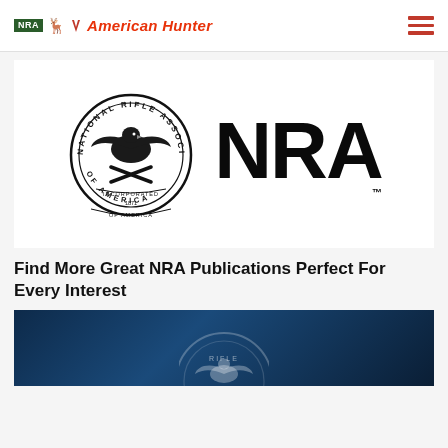NRA American Hunter
[Figure (logo): NRA National Rifle Association of America seal/medallion logo alongside large bold NRA text with TM trademark symbol]
Find More Great NRA Publications Perfect For Every Interest
[Figure (photo): Dark blue gradient background with partial NRA seal visible at bottom, promotional image for NRA publications]